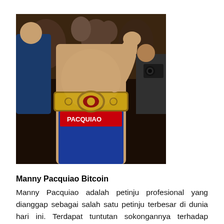[Figure (photo): Photo of Manny Pacquiao holding a boxing championship belt, surrounded by people, celebrating a victory.]
Manny Pacquiao Bitcoin
Manny Pacquiao adalah petinju profesional yang dianggap sebagai salah satu petinju terbesar di dunia hari ini. Terdapat tuntutan sokongannya terhadap sistem bitcoin. Sesungguhnya, Pacquiao adalah peminat besar cryptocurrency, yang melancarkan mata wang kriptonya. Walau bagaimanapun, tidak ada bukti yang menyokong tuntutannya bot bitcoin.